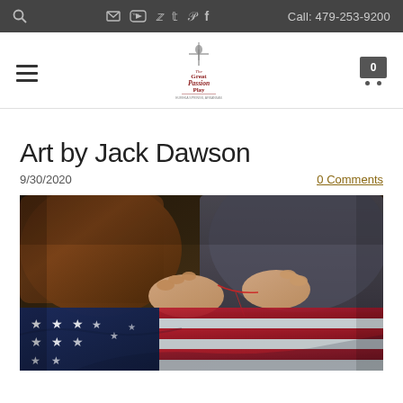Call: 479-253-9200 [navigation bar with social icons]
[Figure (logo): The Great Passion Play logo with figure and cross]
Art by Jack Dawson
9/30/2020
0 Comments
[Figure (photo): Painting of hands sewing/mending an American flag with red, white and blue stars and stripes, person wearing brown jacket/robe]